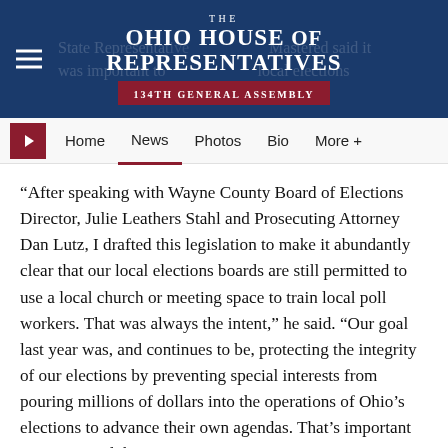[Figure (logo): The Ohio House of Representatives 134th General Assembly header logo on dark navy blue background with hamburger menu icon]
Home  News  Photos  Bio  More +
“After speaking with Wayne County Board of Elections Director, Julie Leathers Stahl and Prosecuting Attorney Dan Lutz, I drafted this legislation to make it abundantly clear that our local elections boards are still permitted to use a local church or meeting space to train local poll workers. That was always the intent,” he said. “Our goal last year was, and continues to be, protecting the integrity of our elections by preventing special interests from pouring millions of dollars into the operations of Ohio’s elections to advance their own agendas. That’s important to maintained those protections.”
Wiggan’s amendment was included in House Bill 564,